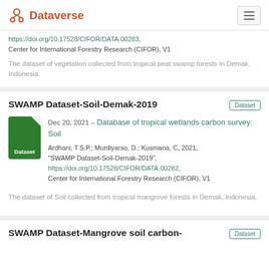Dataverse
https://doi.org/10.17528/CIFOR/DATA.00283, Center for International Forestry Research (CIFOR), V1
The dataset of vegetation collected from tropical peat swamp forests in Demak, Indonesia.
SWAMP Dataset-Soil-Demak-2019
Dec 20, 2021 – Database of tropical wetlands carbon survey: Soil
Ardhani, T.S.P.; Murdiyarso, D.; Kusmana, C, 2021, "SWAMP Dataset-Soil-Demak-2019", https://doi.org/10.17528/CIFOR/DATA.00282, Center for International Forestry Research (CIFOR), V1
The dataset of Soil collected from tropical mangrove forests in Demak, Indonesia.
SWAMP Dataset-Mangrove soil carbon-